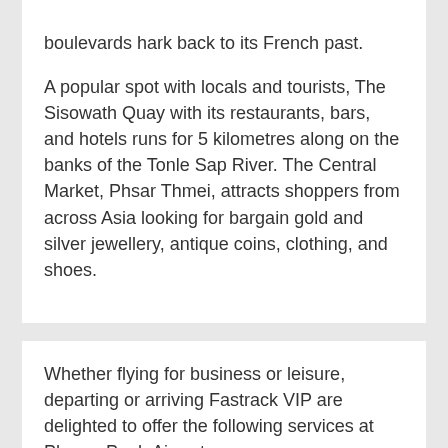boulevards hark back to its French past.

A popular spot with locals and tourists, The Sisowath Quay with its restaurants, bars, and hotels runs for 5 kilometres along on the banks of the Tonle Sap River. The Central Market, Phsar Thmei, attracts shoppers from across Asia looking for bargain gold and silver jewellery, antique coins, clothing, and shoes.
Whether flying for business or leisure, departing or arriving Fastrack VIP are delighted to offer the following services at Phnom Penh Airport:
Arrival Meet & Assist Service With Fast Track
Departure Meet & Assist Service